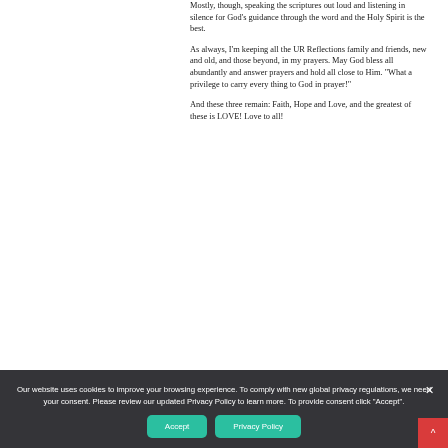Mostly, though, speaking the scriptures out loud and listening in silence for God’s guidance through the word and the Holy Spirit is the best.
As always, I’m keeping all the UR Reflections family and friends, new and old, and those beyond, in my prayers. May God bless all abundantly and answer prayers and hold all close to Him. “What a privilege to carry every thing to God in prayer!”
And these three remain: Faith, Hope and Love, and the greatest of these is LOVE! Love to all!
Our website uses cookies to improve your browsing experience. To comply with new global privacy regulations, we need your consent. Please review our updated Privacy Policy to learn more. To provide consent click “Accept”.